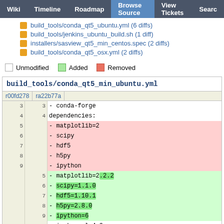Wiki | Timeline | Roadmap | Browse Source | View Tickets | Search
build_tools/conda_qt5_ubuntu.yml (6 diffs)
build_tools/jenkins_ubuntu_build.sh (1 diff)
installers/sasview_qt5_min_centos.spec (2 diffs)
build_tools/conda_qt5_osx.yml (2 diffs)
Unmodified   Added   Removed
build_tools/conda_qt5_min_ubuntu.yml
| r00fd278 | ra22b77a | code |
| --- | --- | --- |
| 3 | 3 | - conda-forge |
| 4 | 4 | dependencies: |
| 5 |  | - matplotlib=2 |
| 6 |  | - scipy |
| 7 |  | - hdf5 |
| 8 |  | - h5py |
| 9 |  | - ipython |
|  | 5 | - matplotlib=2.2.2 |
|  | 6 | - scipy=1.1.0 |
|  | 7 | - hdf5=1.10.1 |
|  | 8 | - h5py=2.8.0 |
|  | 9 | - ipython=6 |
| 10 | 10 | - ipykernel=4.9 |
| 11 | 11 | - jupyter |